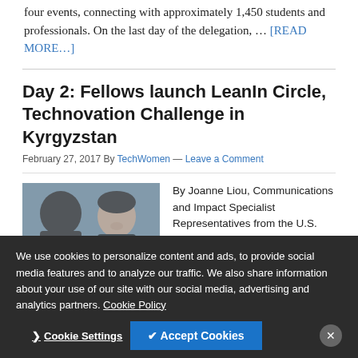four events, connecting with approximately 1,450 students and professionals. On the last day of the delegation, ... [READ MORE...]
Day 2: Fellows launch LeanIn Circle, Technovation Challenge in Kyrgyzstan
February 27, 2017 By TechWomen — Leave a Comment
[Figure (photo): Two women sitting and talking, one facing away and one smiling, in an indoor setting.]
By Joanne Liou, Communications and Impact Specialist Representatives from the U.S. Embassy in Kyrgyzstan
We use cookies to personalize content and ads, to provide social media features and to analyze our traffic. We also share information about your use of our site with our social media, advertising and analytics partners. Cookie Policy